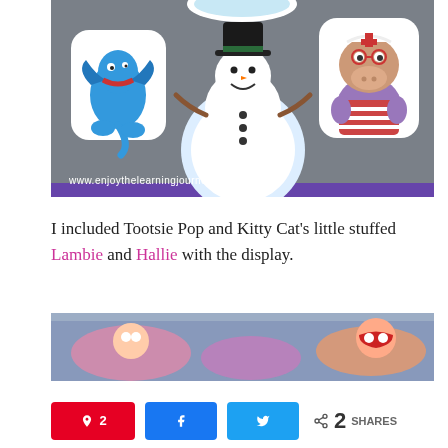[Figure (photo): Photo of cartoon character cutouts on a metallic background including a blue dragon, a snowman with a black hat, and a purple hippo in a striped outfit. Watermark reads www.enjoythelearningjourney.com]
I included Tootsie Pop and Kitty Cat's little stuffed Lambie and Hallie with the display.
[Figure (photo): Photo of stuffed animal toys and figurines in a plastic container, including what appears to be Doc McStuffins characters.]
A Pin 2 | f Share | Tweet | < 2 SHARES